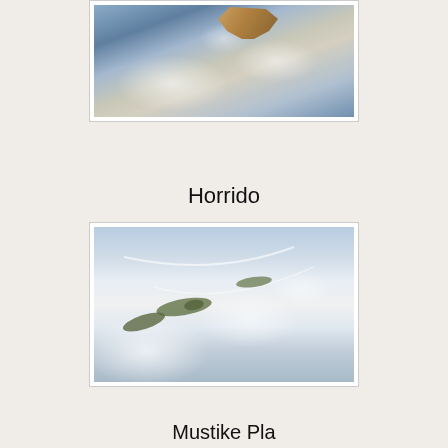[Figure (illustration): Painting of a WWII German aircraft (yellow-nosed fighter) viewed from close range, banking against dramatic dark blue and white clouds.]
Horrido
[Figure (illustration): Painting of multiple WWII aircraft in aerial combat, including a Bf 109 and P-38 Lightnings, against a backdrop of white clouds and blue sky with vapor trails.]
Mustike Pla...